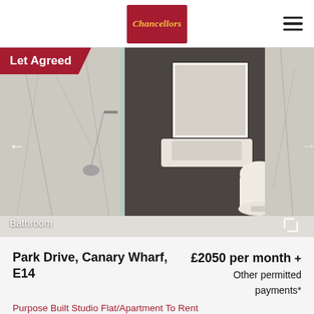[Figure (logo): Chancellors estate agents logo — red rectangle with italic gold text 'Chancellors']
[Figure (photo): Luxury marble bathroom with walk-in shower, wall-hung toilet, illuminated mirror, and hexagonal tile flooring. Caption reads 'Bathroom'. A 'Let Agreed' badge in dark red appears top-left.]
Park Drive, Canary Wharf, E14
£2050 per month + Other permitted payments*
Purpose Built Studio Flat/Apartment To Rent